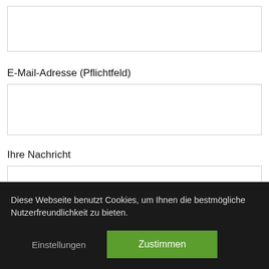[Figure (screenshot): Empty text input field at the top of a web form]
E-Mail-Adresse (Pflichtfeld)
[Figure (screenshot): Email input field]
Ihre Nachricht
[Figure (screenshot): Message textarea input field]
Diese Webseite benutzt Cookies, um Ihnen die bestmögliche Nutzerfreundlichkeit zu bieten.
Einstellungen
Zustimmen